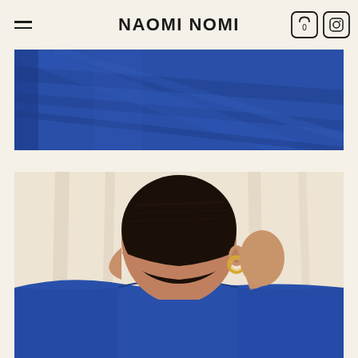NAOMI NOMI
[Figure (photo): Close-up of royal blue fabric texture with diagonal fold lines]
[Figure (photo): Woman with short dark hair wearing a royal blue blazer and gold hoop earrings, photographed from behind at a slight angle showing her profile, against a cream/beige curtained background]